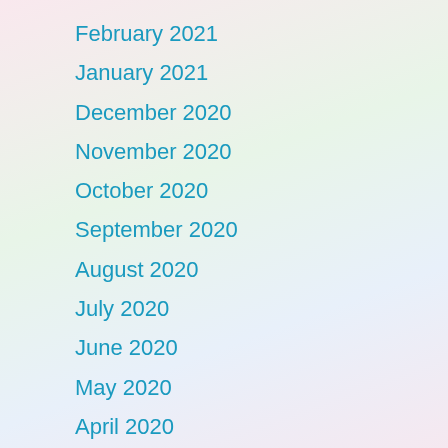February 2021
January 2021
December 2020
November 2020
October 2020
September 2020
August 2020
July 2020
June 2020
May 2020
April 2020
February 2020
January 2020
August 2019